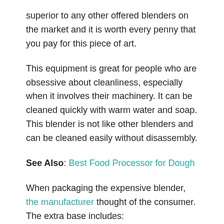superior to any other offered blenders on the market and it is worth every penny that you pay for this piece of art.
This equipment is great for people who are obsessive about cleanliness, especially when it involves their machinery. It can be cleaned quickly with warm water and soap. This blender is not like other blenders and can be cleaned easily without disassembly.
See Also: Best Food Processor for Dough
When packaging the expensive blender, the manufacturer thought of the consumer. The extra base includes:
v